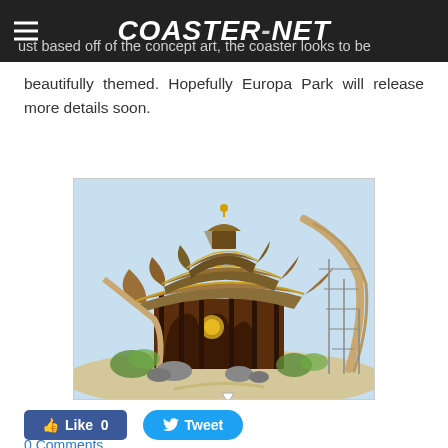COASTER-NET
Just based off of the concept art, the coaster looks to be beautifully themed. Hopefully Europa Park will release more details soon.
[Figure (illustration): Concept art illustration of a themed roller coaster station building with Asian-inspired architecture, thatched roofs, wooden supports, rocks, and roller coaster track visible on the right side]
Like 0   Tweet
0 Comments